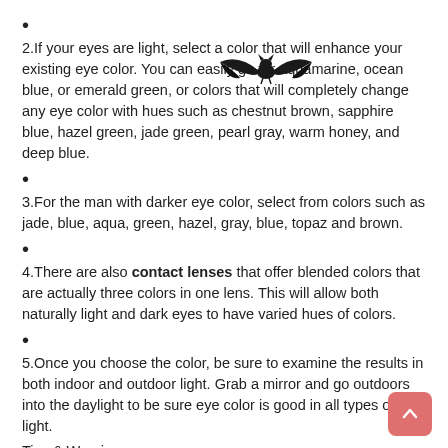•
2.If your eyes are light, select a color that will enhance your existing eye color. You can easily go for aquamarine, ocean blue, or emerald green, or colors that will completely change any eye color with hues such as chestnut brown, sapphire blue, hazel green, jade green, pearl gray, warm honey, and deep blue.
•
3.For the man with darker eye color, select from colors such as jade, blue, aqua, green, hazel, gray, blue, topaz and brown.
•
4.There are also contact lenses that offer blended colors that are actually three colors in one lens. This will allow both naturally light and dark eyes to have varied hues of colors.
•
5.Once you choose the color, be sure to examine the results in both indoor and outdoor light. Grab a mirror and go outdoors into the daylight to be sure eye color is good in all types of light.
Tips & Warnings